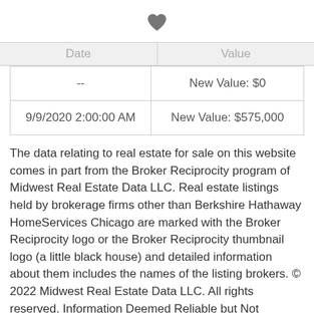[Figure (other): Heart/favorite icon in dark gray]
| Date | Value |
| --- | --- |
| -- | New Value: $0 |
| 9/9/2020 2:00:00 AM | New Value: $575,000 |
The data relating to real estate for sale on this website comes in part from the Broker Reciprocity program of Midwest Real Estate Data LLC. Real estate listings held by brokerage firms other than Berkshire Hathaway HomeServices Chicago are marked with the Broker Reciprocity logo or the Broker Reciprocity thumbnail logo (a little black house) and detailed information about them includes the names of the listing brokers. © 2022 Midwest Real Estate Data LLC. All rights reserved. Information Deemed Reliable but Not Guaranteed. Listing information from this property search is provided exclusively for consumers' personal, non-commercial use